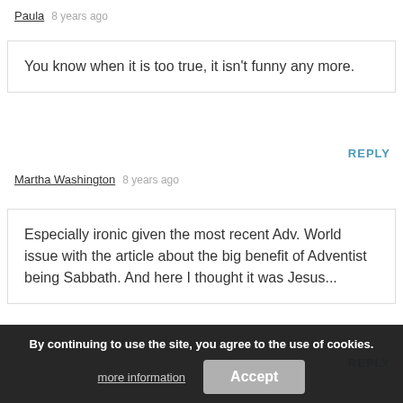Paula  8 years ago
You know when it is too true, it isn't funny any more.
REPLY
Martha Washington  8 years ago
Especially ironic given the most recent Adv. World issue with the article about the big benefit of Adventist being Sabbath. And here I thought it was Jesus...
REPLY
By continuing to use the site, you agree to the use of cookies.
more information
Accept